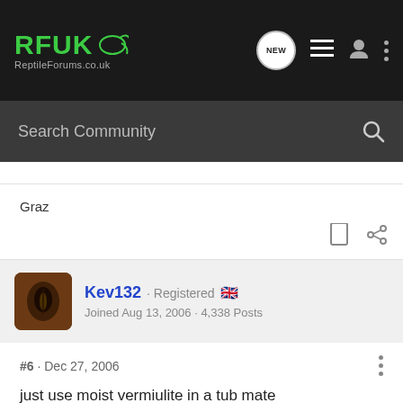RFUK · ReptileForums.co.uk — Search Community
Graz
Kev132 · Registered · Joined Aug 13, 2006 · 4,338 Posts
#6 · Dec 27, 2006
just use moist vermiulite in a tub mate